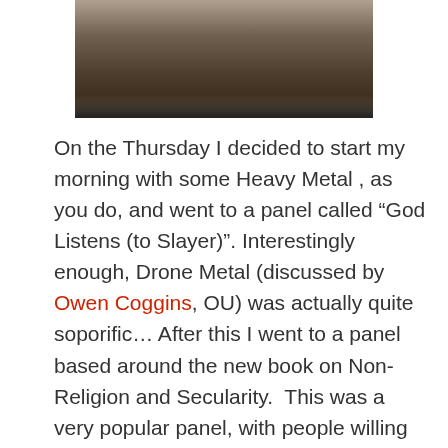[Figure (photo): Black and white photograph showing a person, cropped at top of page]
On the Thursday I decided to start my morning with some Heavy Metal , as you do, and went to a panel called “God Listens (to Slayer)”. Interestingly enough, Drone Metal (discussed by Owen Coggins, OU) was actually quite soporific… After this I went to a panel based around the new book on Non-Religion and Secularity.  This was a very popular panel, with people willing to sit on the floor to attend, which goes to show the level of interest in the developing field of Non-religion and